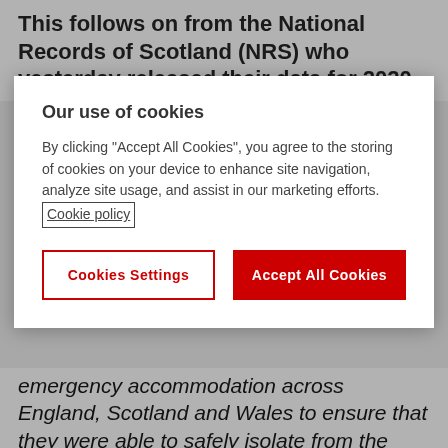This follows on from the National Records of Scotland (NRS) who yesterday released their data for 2020
[Figure (screenshot): Cookie consent modal overlay with title 'Our use of cookies', body text about cookies policy, a Cookie policy link, and two buttons: 'Cookies Settings' (outlined red) and 'Accept All Cookies' (solid red)]
emergency accommodation across England, Scotland and Wales to ensure that they were able to safely isolate from the virus.
Additional analysis of the ONS data for England and Wales showed that:
The number of people who died whilst homeless in 2020 is an 11.6% decrease on the previous year.
Of the 688 figure, 666 were due to ...